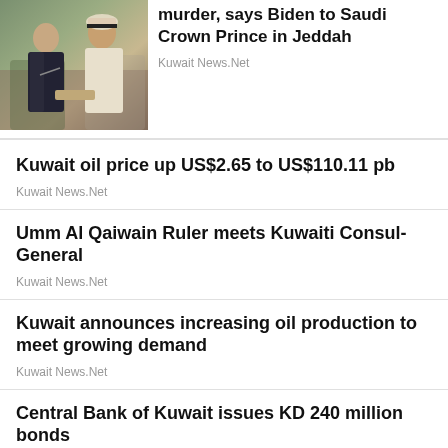[Figure (photo): Photo of two men in a meeting, one in a suit and one in white robes]
murder, says Biden to Saudi Crown Prince in Jeddah
Kuwait News.Net
Kuwait oil price up US$2.65 to US$110.11 pb
Kuwait News.Net
Umm Al Qaiwain Ruler meets Kuwaiti Consul-General
Kuwait News.Net
Kuwait announces increasing oil production to meet growing demand
Kuwait News.Net
Central Bank of Kuwait issues KD 240 million bonds